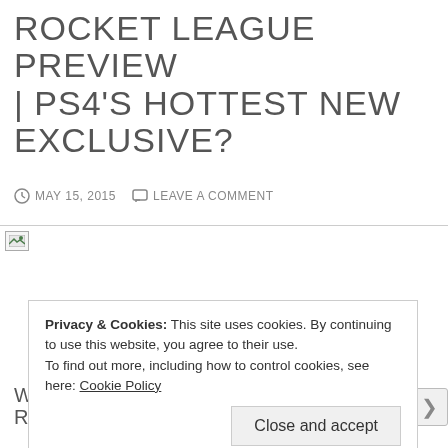ROCKET LEAGUE PREVIEW | PS4'S HOTTEST NEW EXCLUSIVE?
MAY 15, 2015   LEAVE A COMMENT
[Figure (photo): Broken image placeholder for Rocket League article image]
Privacy & Cookies: This site uses cookies. By continuing to use this website, you agree to their use. To find out more, including how to control cookies, see here: Cookie Policy
Close and accept
Advertisements